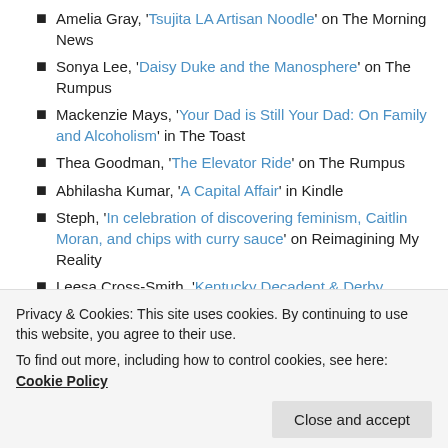Amelia Gray, 'Tsujita LA Artisan Noodle' on The Morning News
Sonya Lee, 'Daisy Duke and the Manosphere' on The Rumpus
Mackenzie Mays, 'Your Dad is Still Your Dad: On Family and Alcoholism' in The Toast
Thea Goodman, 'The Elevator Ride' on The Rumpus
Abhilasha Kumar, 'A Capital Affair' in Kindle
Steph, 'In celebration of discovering feminism, Caitlin Moran, and chips with curry sauce' on Reimagining My Reality
Leesa Cross-Smith, 'Kentucky Decadent & Derby Depraved' on Real Pants
Sarah Lepiciger, 'How do you cure homesickness?'
Privacy & Cookies: This site uses cookies. By continuing to use this website, you agree to their use.
To find out more, including how to control cookies, see here: Cookie Policy